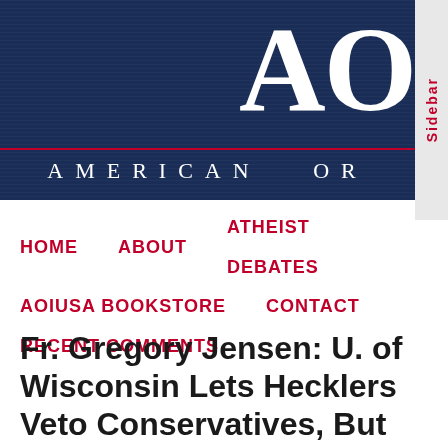[Figure (screenshot): Website header banner with dark navy blue background, large white bold letters 'AO' on the right, a red horizontal line, and subtitle text 'AMERICAN OR' in white spaced capital letters]
Sidebar
HOME    ABOUT    ATHEIST DEBATES
AOIUSA BOOKSTORE    CONTACT
RECENT COMMENTS
Fr. Gregory Jensen: U. of Wisconsin Lets Hecklers Veto Conservatives, But Welcomes Anti-Christian Hate Group